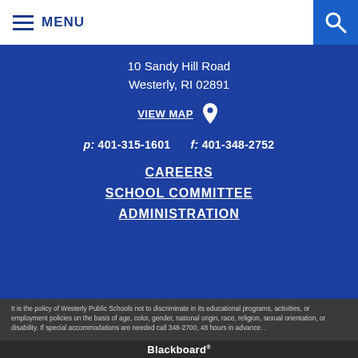MENU
10 Sandy Hill Road
Westerly, RI 02891
VIEW MAP
p: 401-315-1601    f: 401-348-2752
CAREERS
SCHOOL COMMITTEE
ADMINISTRATION
It is the policy of Westerly Public Schools not to discriminate in its educational programs, activities, or employment policies on the basis of age, color, gender, national origin, race, religion, sexual orientation, or disability. If special accommodations are needed call 348-2700, 48 hours in advance. .
Blackboard